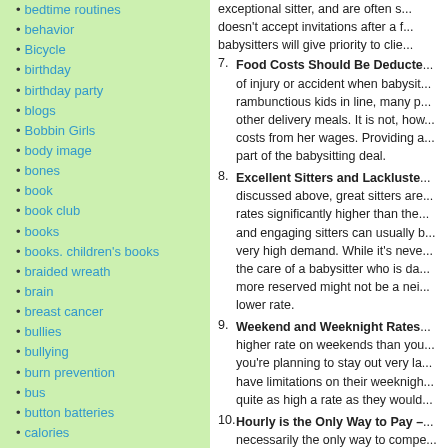bedtime routines
behavior
Bicycle
birthday
birthday party
blogs
Bobbin Girls
body image
bones
book
book club
books
books. children's books
braided wreath
brain
breast cancer
bullies
bullying
burn prevention
bus
button batteries
calories
camp
campfire safety
camping
exceptional sitter, and are often s... doesn't accept invitations after a f... babysitters will give priority to clie...
7. Food Costs Should Be Deducte... of injury or accident when babysit... rambunctious kids in line, many p... other delivery meals. It is not, how... costs from her wages. Providing a... part of the babysitting deal.
8. Excellent Sitters and Lackluste... discussed above, great sitters are... rates significantly higher than the... and engaging sitters can usually b... very high demand. While it's neve... the care of a babysitter who is da... more reserved might not be a nei... lower rate.
9. Weekend and Weeknight Rates... higher rate on weekends than you... you're planning to stay out very la... have limitations on their weeknigh... quite as high a rate as they would...
10. Hourly is the Only Way to Pay –... necessarily the only way to compe... you're absolutely certain that you... the sitter is amenable to a flat rate...
The best way to determine a fair b... take the going rate in your area, th... needs unique and the expected le... After determining what a fair bi...